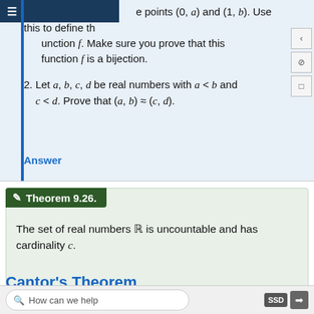...e points (0, a) and (1, b). Use this to define the function f. Make sure you prove that this function f is a bijection.
2. Let a, b, c, d be real numbers with a < b and c < d. Prove that (a, b) ≈ (c, d).
Answer
Theorem 9.26.
The set of real numbers ℝ is uncountable and has cardinality c.
Proof
Cantor's Theorem
How can we help